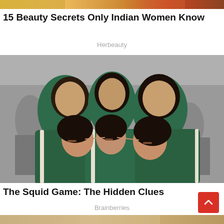[Figure (photo): Cropped top portion of an image showing Indian women in colorful attire, yellow and orange tones visible]
15 Beauty Secrets Only Indian Women Know
Herbeauty
[Figure (photo): Three young women in green Squid Game tracksuits huddled together, leaning their heads on each other, black and white blurred background]
The Squid Game: The Hidden Clues
Brainberries
[Figure (photo): Partial view of a blonde woman against a neutral background, only visible from chin down at page edge]